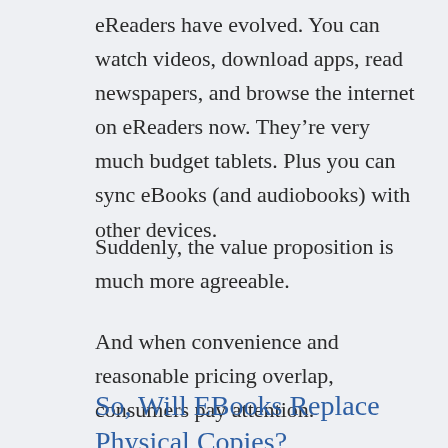eReaders have evolved. You can watch videos, download apps, read newspapers, and browse the internet on eReaders now. They're very much budget tablets. Plus you can sync eBooks (and audiobooks) with other devices.
Suddenly, the value proposition is much more agreeable.
And when convenience and reasonable pricing overlap, consumers pay attention.
So, Will EBooks Replace Physical Copies?